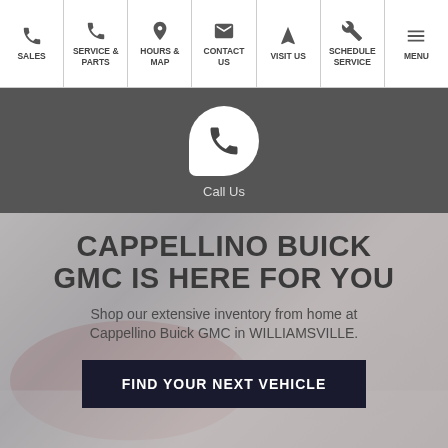SALES | SERVICE & PARTS | HOURS & MAP | CONTACT US | VISIT US | SCHEDULE SERVICE | MENU
[Figure (infographic): Call Us button with phone icon inside a speech bubble on a dark gray background]
[Figure (photo): Blurred car dealership interior background with overlaid text]
CAPPELLINO BUICK GMC IS HERE FOR YOU
Shop our extensive inventory from home at Cappellino Buick GMC in WILLIAMSVILLE.
FIND YOUR NEXT VEHICLE